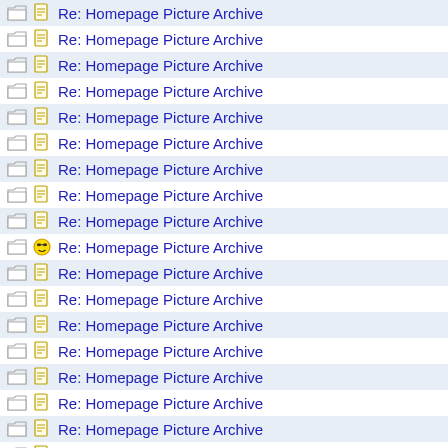Re: Homepage Picture Archive
Re: Homepage Picture Archive
Re: Homepage Picture Archive
Re: Homepage Picture Archive
Re: Homepage Picture Archive
Re: Homepage Picture Archive
Re: Homepage Picture Archive
Re: Homepage Picture Archive
Re: Homepage Picture Archive
Re: Homepage Picture Archive
Re: Homepage Picture Archive
Re: Homepage Picture Archive
Re: Homepage Picture Archive
Re: Homepage Picture Archive
Re: Homepage Picture Archive
Re: Homepage Picture Archive
Re: Homepage Picture Archive
Re: Homepage Picture Archive